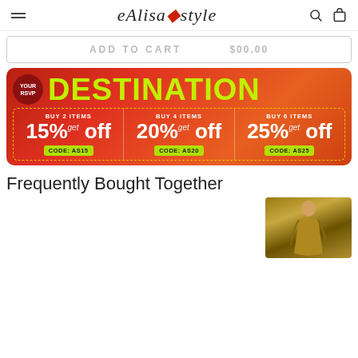eAlisastyle — navigation header with hamburger menu, logo, search icon, cart icon
ADD TO CART   $00.00
[Figure (infographic): Promotional banner on orange-red gradient background. Top: 'YOUR RSVP' badge circle and 'DESTINATION' in large lime-green bold text. Below: three deal columns in dashed yellow border — BUY 2 ITEMS 15% off CODE: AS15 | BUY 4 ITEMS 20% off CODE: AS20 | BUY 6 ITEMS 25% off CODE: AS25]
Frequently Bought Together
[Figure (photo): Partial view of a model wearing a gold/yellow dress, cropped at the bottom of the page]